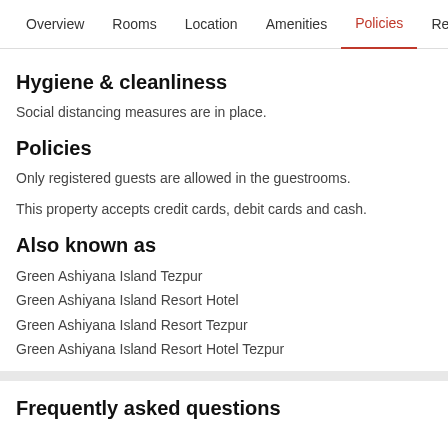Overview  Rooms  Location  Amenities  Policies  Reviews
Hygiene & cleanliness
Social distancing measures are in place.
Policies
Only registered guests are allowed in the guestrooms.
This property accepts credit cards, debit cards and cash.
Also known as
Green Ashiyana Island Tezpur
Green Ashiyana Island Resort Hotel
Green Ashiyana Island Resort Tezpur
Green Ashiyana Island Resort Hotel Tezpur
Frequently asked questions